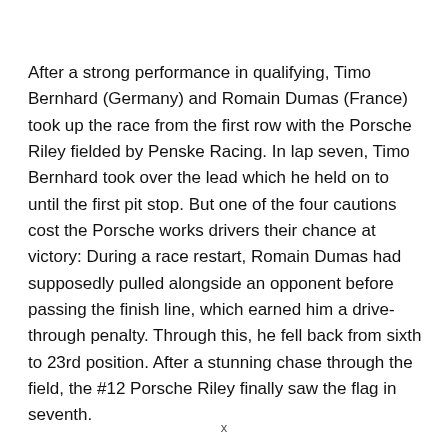After a strong performance in qualifying, Timo Bernhard (Germany) and Romain Dumas (France) took up the race from the first row with the Porsche Riley fielded by Penske Racing. In lap seven, Timo Bernhard took over the lead which he held on to until the first pit stop. But one of the four cautions cost the Porsche works drivers their chance at victory: During a race restart, Romain Dumas had supposedly pulled alongside an opponent before passing the finish line, which earned him a drive-through penalty. Through this, he fell back from sixth to 23rd position. After a stunning chase through the field, the #12 Porsche Riley finally saw the flag in seventh.
“We drove at our absolute limit over the entire race distance.